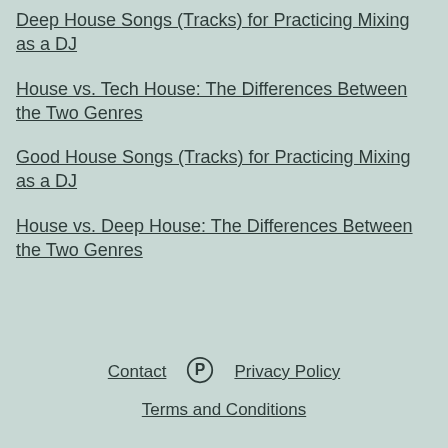Deep House Songs (Tracks) for Practicing Mixing as a DJ
House vs. Tech House: The Differences Between the Two Genres
Good House Songs (Tracks) for Practicing Mixing as a DJ
House vs. Deep House: The Differences Between the Two Genres
Contact | Pinterest | Privacy Policy | Terms and Conditions